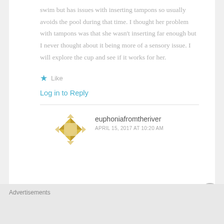swim but has issues with inserting tampons so usually avoids the pool during that time. I thought her problem with tampons was that she wasn't inserting far enough but I never thought about it being more of a sensory issue. I will explore the cup and see if it works for her.
★ Like
Log in to Reply
euphoniafromtheriver
APRIL 15, 2017 AT 10:20 AM
Advertisements